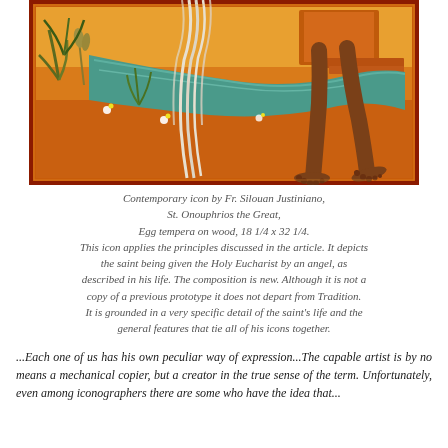[Figure (illustration): Contemporary icon painting showing St. Onouphrios the Great being given the Holy Eucharist by an angel. The scene depicts an orange-gold landscape with a river of teal/green flowing through it, vegetation, flowers, and the lower half of a figure with bare feet and long white hair walking through the scene.]
Contemporary icon by Fr. Silouan Justiniano, St. Onouphrios the Great, Egg tempera on wood, 18 1/4 x 32 1/4. This icon applies the principles discussed in the article. It depicts the saint being given the Holy Eucharist by an angel, as described in his life. The composition is new. Although it is not a copy of a previous prototype it does not depart from Tradition. It is grounded in a very specific detail of the saint's life and the general features that tie all of his icons together.
...Each one of us has his own peculiar way of expression...The capable artist is by no means a mechanical copier, but a creator in the true sense of the term. Unfortunately, even among iconographers there are some who have the idea that...